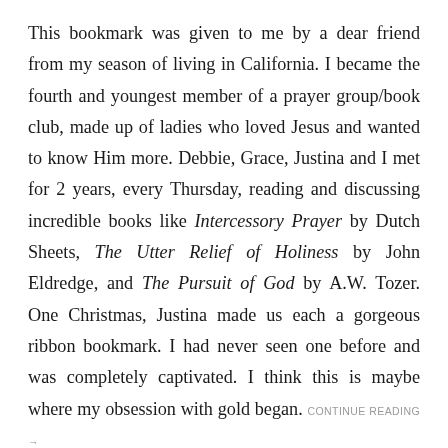This bookmark was given to me by a dear friend from my season of living in California. I became the fourth and youngest member of a prayer group/book club, made up of ladies who loved Jesus and wanted to know Him more. Debbie, Grace, Justina and I met for 2 years, every Thursday, reading and discussing incredible books like Intercessory Prayer by Dutch Sheets, The Utter Relief of Holiness by John Eldredge, and The Pursuit of God by A.W. Tozer. One Christmas, Justina made us each a gorgeous ribbon bookmark. I had never seen one before and was completely captivated. I think this is maybe where my obsession with gold began. CONTINUE READING →